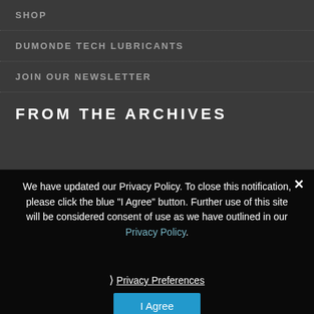SHOP
DUMONDE TECH LUBRICANTS
JOIN OUR NEWSLETTER
FROM THE ARCHIVES
We have updated our Privacy Policy. To close this notification, please click the blue "I Agree" button. Further use of this site will be considered consent of use as we have outlined in our Privacy Policy.
› Privacy Preferences
I Agree